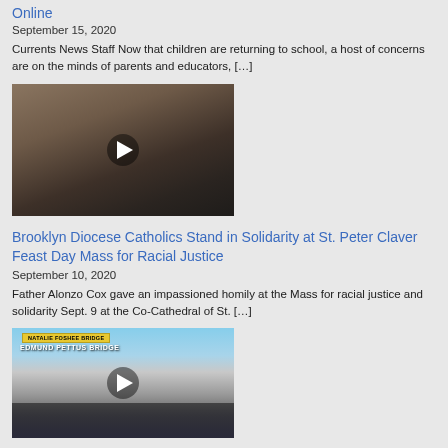Online
September 15, 2020
Currents News Staff Now that children are returning to school, a host of concerns are on the minds of parents and educators, […]
[Figure (photo): Video thumbnail of a person wearing a mask, with a play button overlay]
Brooklyn Diocese Catholics Stand in Solidarity at St. Peter Claver Feast Day Mass for Racial Justice
September 10, 2020
Father Alonzo Cox gave an impassioned homily at the Mass for racial justice and solidarity Sept. 9 at the Co-Cathedral of St. […]
[Figure (photo): Video thumbnail of Edmund Pettus Bridge with a crowd of people and a play button overlay]